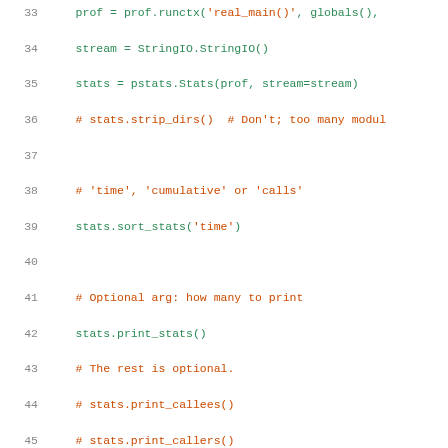[Figure (screenshot): Python source code snippet showing lines 33-54, with syntax highlighting. Line numbers in grey on left, code in green and orange/red for strings and comments.]